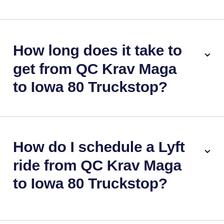How long does it take to get from QC Krav Maga to Iowa 80 Truckstop?
How do I schedule a Lyft ride from QC Krav Maga to Iowa 80 Truckstop?